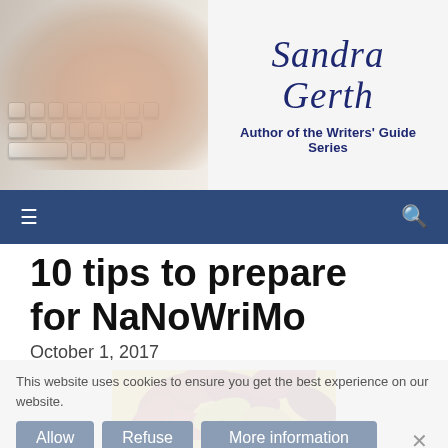[Figure (photo): Website header showing hands typing on a keyboard on the left, and 'Sandra Gerth – Author of the Writers' Guide Series' text on the right with dark blue script and sans-serif fonts on a light background.]
Sandra Gerth | Author of the Writers' Guide Series
10 tips to prepare for NaNoWriMo
October 1, 2017
[Figure (photo): Autumn leaves (red and yellow maple leaves) with text overlay '10 tips to prepare' on a yellow background]
This website uses cookies to ensure you get the best experience on our website.
Allow   Refuse   More information